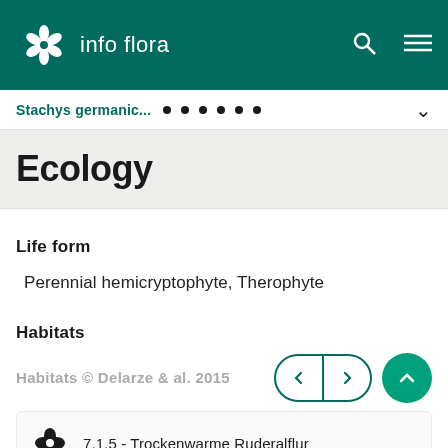info flora
Stachys germanic...
Ecology
Life form
Perennial hemicryptophyte, Therophyte
Habitats
Habitats © Delarze & al. 2015
7.1.5 - Trockenwarme Ruderalflur